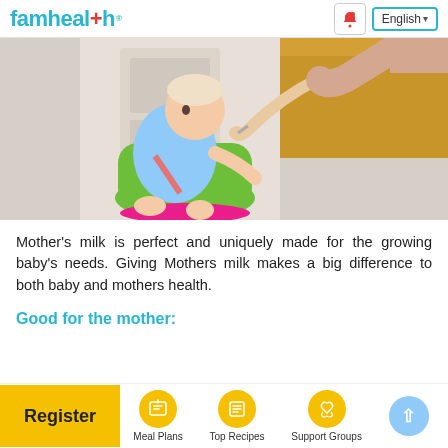famhealth | English
[Figure (photo): A baby sitting in a green booster seat at a table, being fed by an adult's hand. The baby is wearing a light blue outfit. The setting appears to be a kitchen or dining area with wooden furniture.]
Mother's milk is perfect and uniquely made for the growing baby's needs. Giving Mothers milk makes a big difference to both baby and mothers health.
Good for the mother:
Register | Meal Plans | Top Recipes | Support Groups